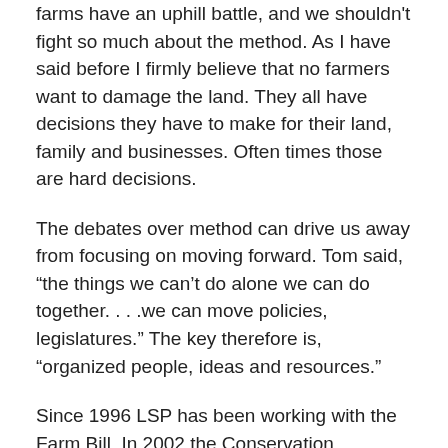farms have an uphill battle, and we shouldn't fight so much about the method. As I have said before I firmly believe that no farmers want to damage the land. They all have decisions they have to make for their land, family and businesses. Often times those are hard decisions.
The debates over method can drive us away from focusing on moving forward. Tom said, “the things we can’t do alone we can do together. . . .we can move policies, legislatures.” The key therefore is, “organized people, ideas and resources.”
Since 1996 LSP has been working with the Farm Bill. In 2002 the Conservation Stewardship Program (one that promotes conversation efforts on rural land) was included, while a ban on Packer (meat packers) owned Livestock passed in the Senate but not the House.
In 2008 funds were allocated for Beginning Farmers and